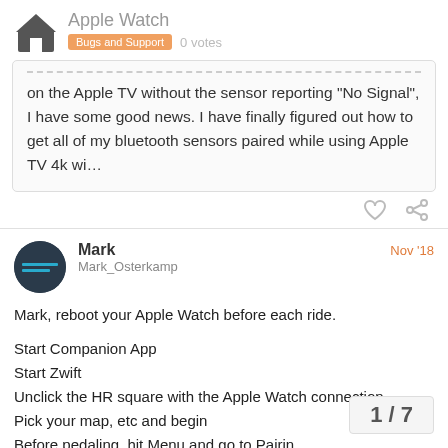Apple Watch | Bugs and Support 0 votes
on the Apple TV without the sensor reporting "No Signal", I have some good news. I have finally figured out how to get all of my bluetooth sensors paired while using Apple TV 4k wi…
Mark Nov '18
Mark_Osterkamp
Mark, reboot your Apple Watch before each ride.

Start Companion App
Start Zwift
Unclick the HR square with the Apple Watch connection
Pick your map, etc and begin
Before pedaling, hit Menu and go to Pairin
Click on the HR square and chose your Ap